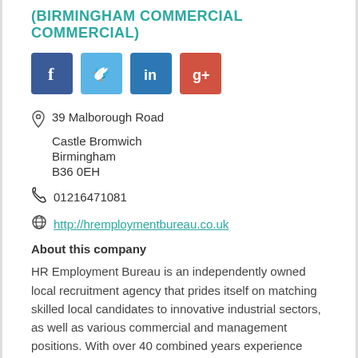(BIRMINGHAM COMMERCIAL COMMERCIAL)
[Figure (infographic): Four social media icons: Facebook (dark blue), Twitter (light blue), LinkedIn (blue), Google+ (red-orange)]
39 Malborough Road
Castle Bromwich
Birmingham
B36 0EH
01216471081
http://hremploymentbureau.co.uk
About this company
HR Employment Bureau is an independently owned local recruitment agency that prides itself on matching skilled local candidates to innovative industrial sectors, as well as various commercial and management positions. With over 40 combined years experience within the Engineering, Manufacturing, Logistics, Office Services, Professional & Public Sector